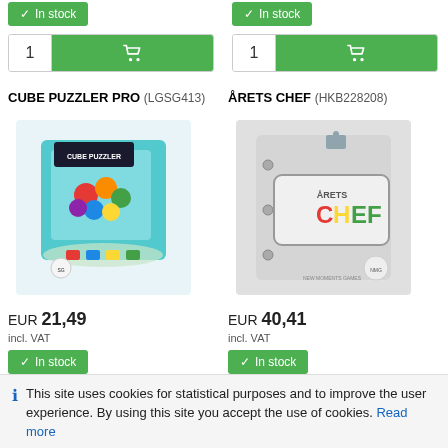[Figure (screenshot): In stock button and add-to-cart for left product (top)]
[Figure (screenshot): In stock button and add-to-cart for right product (top)]
CUBE PUZZLER PRO (LGSG413)
[Figure (photo): Cube Puzzler Pro product box with colorful ball puzzle inside transparent cube]
EUR 21,49 incl. VAT
[Figure (screenshot): In stock button and add-to-cart for Cube Puzzler Pro]
ÅRETS CHEF (HKB228208)
[Figure (photo): Årets Chef board game box with grey background and colorful logo]
EUR 40,41 incl. VAT
[Figure (screenshot): In stock button and add-to-cart for Årets Chef]
This site uses cookies for statistical purposes and to improve the user experience. By using this site you accept the use of cookies. Read more